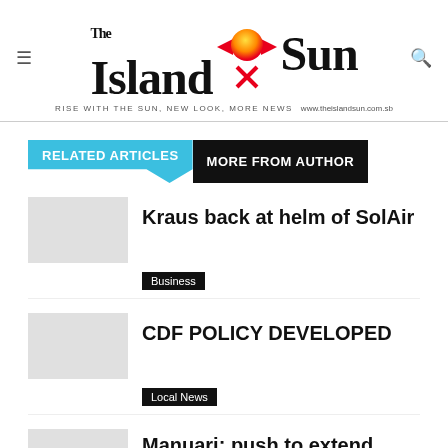[Figure (logo): The Island Sun newspaper logo with hamburger menu icon, sun emblem, search icon, tagline 'RISE WITH THE SUN, NEW LOOK, MORE NEWS' and URL www.theislandsun.com.sb]
RELATED ARTICLES | MORE FROM AUTHOR
Kraus back at helm of SolAir
Business
CDF POLICY DEVELOPED
Local News
Manuari: push to extend Parliament influenced by foreign elements.